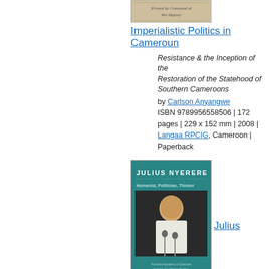[Figure (photo): Book cover of Imperialistic Politics in Cameroun, partial view showing bottom portion with ornate design and text 'Printed by Command of His Majesty']
Imperialistic Politics in Cameroun
Resistance & the Inception of the Restoration of the Statehood of Southern Cameroons
by Carlson Anyangwe
ISBN 9789956558506 | 172 pages | 229 x 152 mm | 2008 | Langaa RPCIG, Cameroon | Paperback
[Figure (photo): Book cover of Julius Nyerere: Humanist, Politician, Thinker. Teal cover with photo of Julius Nyerere speaking at a microphone. Published by Russian Academy of Sciences Institute for African Studies.]
Julius Nyerere. Humanist, Politician,